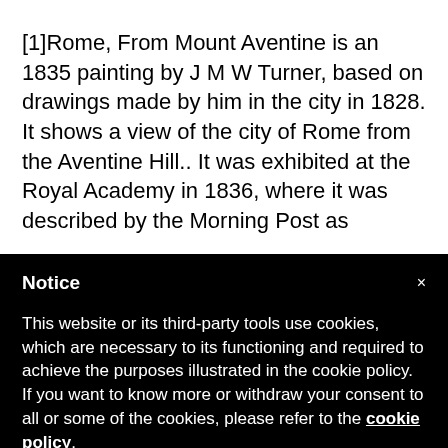[1]Rome, From Mount Aventine is an 1835 painting by J M W Turner, based on drawings made by him in the city in 1828. It shows a view of the city of Rome from the Aventine Hill.. It was exhibited at the Royal Academy in 1836, where it was described by the Morning Post as
Notice
This website or its third-party tools use cookies, which are necessary to its functioning and required to achieve the purposes illustrated in the cookie policy. If you want to know more or withdraw your consent to all or some of the cookies, please refer to the cookie policy.
By closing this banner, scrolling this page, clicking a link or continuing to browse otherwise, you agree to the use of cookies.